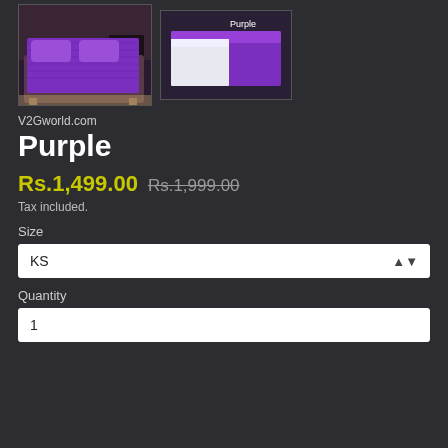[Figure (photo): Two photos of a purple bed sheet set on a dark background. Left image shows a purple fitted sheet on a bed. Right image shows purple flat sheets folded, labeled 'Purple'.]
V2Gworld.com
Purple
Rs.1,499.00  Rs.1,999.00
Tax included.
Size
KS
Quantity
1